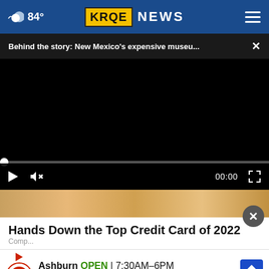☁ 84° | KRQE NEWS
Behind the story: New Mexico's expensive museu... ×
[Figure (screenshot): Black video player area with playback controls showing 00:00 timestamp, play button, mute icon, and fullscreen icon]
Hands Down the Top Credit Card of 2022
Comp...
[Figure (infographic): Tire Auto store advertisement: Ashburn OPEN 7:30AM-6PM, 43781 Parkhurst Plaza, Ashburn with navigation icon]